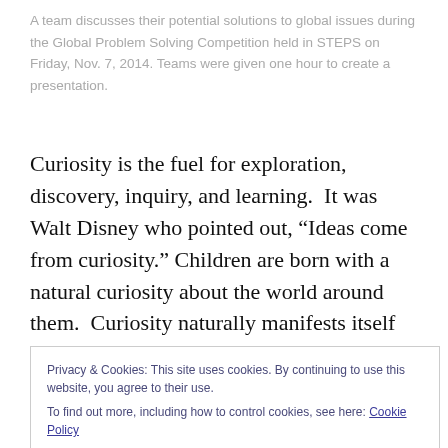A team discusses their potential solutions to global issues during the Global Problem Solving Competition held in STEPS on Friday, Nov. 7, 2014. Teams were given one hour to create a presentation.
Curiosity is the fuel for exploration, discovery, inquiry, and learning.  It was Walt Disney who pointed out, “Ideas come from curiosity.” Children are born with a natural curiosity about the world around them.  Curiosity naturally manifests itself with questions seeking understanding and answers. But instead of feeding the fire of curiosity, the
Privacy & Cookies: This site uses cookies. By continuing to use this website, you agree to their use.
To find out more, including how to control cookies, see here: Cookie Policy
Standardization has become a machine-like custom...